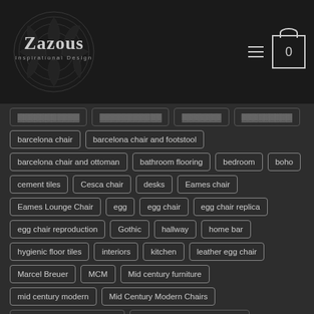[Figure (logo): Zazous Inspirational Design logo — dark circular mandala pattern with 'Zazous' text and 'Inspirational Design' subtitle]
barcelona chair
barcelona chair and footstool
barcelona chair and ottoman
bathroom flooring
bedroom
boho
cement tiles
Cesca chair
desks
Eames chair
Eames Lounge Chair
egg
egg chair
egg chair replica
egg chair reproduction
Gothic
hallway
home bar
hygienic floor tiles
interiors
kitchen
leather egg chair
Marcel Breuer
MCM
Mid century furniture
mid century modern
Mid Century Modern Chairs
Mid Century Modern classic
Mid Century modern furniture